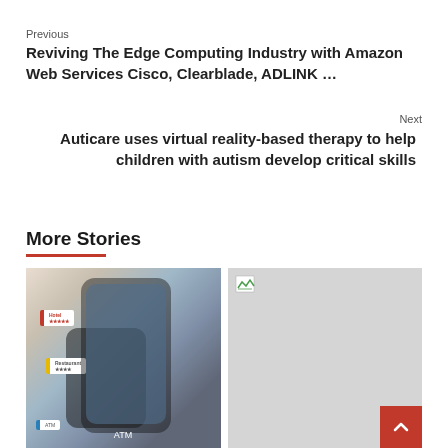Previous
Reviving The Edge Computing Industry with Amazon Web Services Cisco, Clearblade, ADLINK …
Next
Auticare uses virtual reality-based therapy to help children with autism develop critical skills
More Stories
[Figure (photo): Phone screen showing augmented reality app with hotel and restaurant location tags overlaid on a city scene]
[Figure (photo): Partially loaded image placeholder (grey rectangle) with small broken image icon in top left corner]